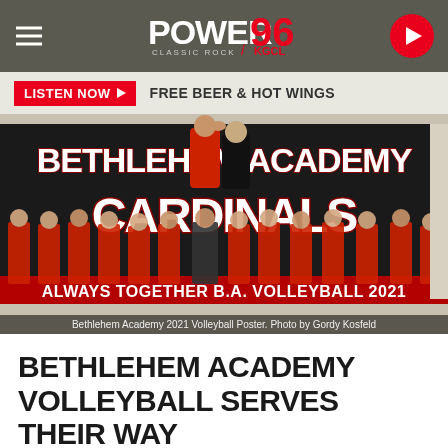Power 96 Classic Rock KGCL
LISTEN NOW  FREE BEER & HOT WINGS
[Figure (photo): Bethlehem Academy Cardinals 2021 Volleyball team poster photo. Players in red and black uniforms stand in a row in front of a banner reading 'Bethlehem Academy Cardinals - Always Together B.A. Volleyball 2021'. Photo by Gordy Kosfeld.]
Bethlehem Academy 2021 Volleyball Poster. Photo by Gordy Kosfeld
BETHLEHEM ACADEMY VOLLEYBALL SERVES THEIR WAY